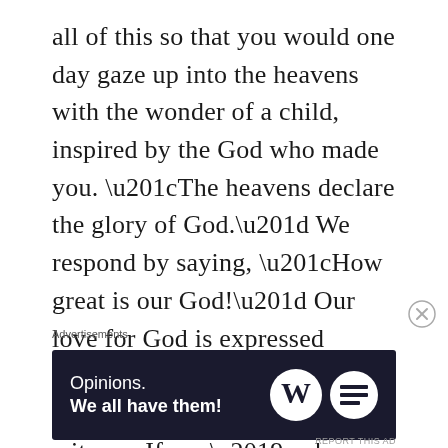all of this so that you would one day gaze up into the heavens with the wonder of a child, inspired by the God who made you. “The heavens declare the glory of God.” We respond by saying, “How great is our God!” Our love for God is expressed through prayer, worship, gratitude, obedience, and witness. If you’ve been feeling far from God lately, check your discipleship in these areas.
I want to encourage you to love. There is a
Advertisements
[Figure (other): Advertisement banner with dark navy background. Left side shows text: 'Opinions. We all have them!' Right side shows WordPress logo and a circular logo.]